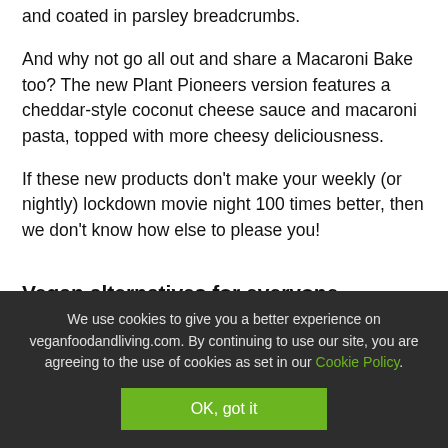and coated in parsley breadcrumbs.
And why not go all out and share a Macaroni Bake too? The new Plant Pioneers version features a cheddar-style coconut cheese sauce and macaroni pasta, topped with more cheesy deliciousness.
If these new products don't make your weekly (or nightly) lockdown movie night 100 times better, then we don't know how else to please you!
Vegan alternatives for everyone
We use cookies to give you a better experience on veganfoodandliving.com. By continuing to use our site, you are agreeing to the use of cookies as set in our Cookie Policy.
OK, got it